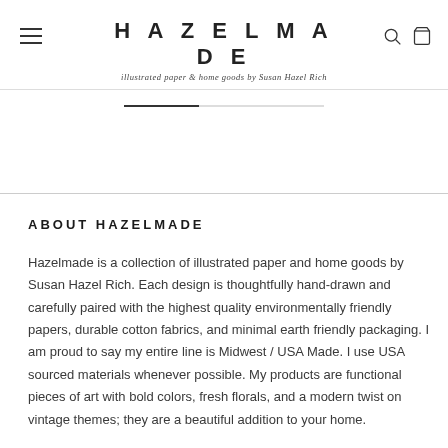HAZELMADE — illustrated paper & home goods by Susan Hazel Rich
[Figure (screenshot): Navigation progress bar / image carousel indicator with dark fill on left portion]
ABOUT HAZELMADE
Hazelmade is a collection of illustrated paper and home goods by Susan Hazel Rich. Each design is thoughtfully hand-drawn and carefully paired with the highest quality environmentally friendly papers, durable cotton fabrics, and minimal earth friendly packaging. I am proud to say my entire line is Midwest / USA Made. I use USA sourced materials whenever possible. My products are functional pieces of art with bold colors, fresh florals, and a modern twist on vintage themes; they are a beautiful addition to your home.